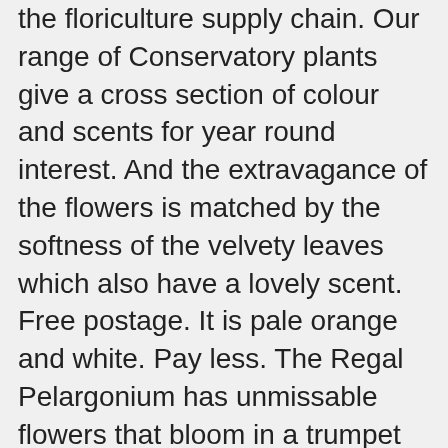the floriculture supply chain. Our range of Conservatory plants give a cross section of colour and scents for year round interest. And the extravagance of the flowers is matched by the softness of the velvety leaves which also have a lovely scent. Free postage. It is pale orange and white. Pay less. The Regal Pelargonium has unmissable flowers that bloom in a trumpet shape. Deep Violet Purple With Deeper Centre. Grow More… Visit our online store plugplant.co.uk. Pelargoniums: An Illustrated Guide to Varieties, Cultivation and Care, with Step-by-step Instructions and Over 170 Beautiful Photographs by Blaise Cooke | 21 Nov 2013 4.1 out of 5 stars 14 1 Mar - 27 Aug: Mon-Fri 9am-5pm Compact Strong Growth. Our Geranium plug plants are supplied as jumbo plugs with a 3.5cm root ball. These are started